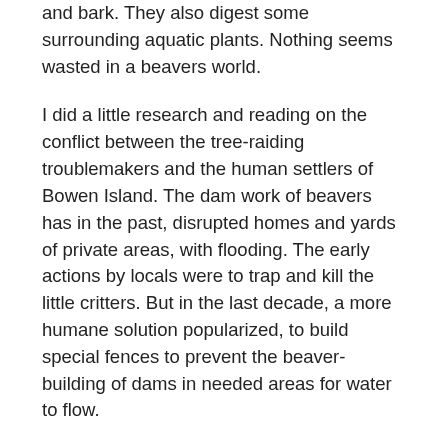and bark. They also digest some surrounding aquatic plants. Nothing seems wasted in a beavers world.
I did a little research and reading on the conflict between the tree-raiding troublemakers and the human settlers of Bowen Island. The dam work of beavers has in the past, disrupted homes and yards of private areas, with flooding. The early actions by locals were to trap and kill the little critters. But in the last decade, a more humane solution popularized, to build special fences to prevent the beaver-building of dams in needed areas for water to flow.
That protection, and other solutions to help the island's natural habitat creatures have been put forth by the Association for the Protection of Fur-Bearing Animals, or Fur-Bearers. For more on beaver fences and the volunteer work of the Fur-Bearers, visit thefurbearers.com.
Meanwhile, here is a fascinating BBC video on the